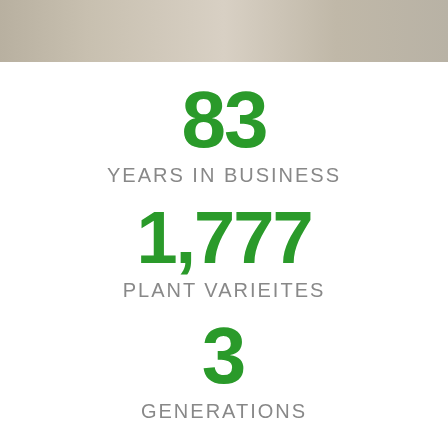[Figure (photo): Photo strip at top showing a greenhouse or plant nursery setting, partially visible]
83
YEARS IN BUSINESS
1,777
PLANT VARIEITES
3
GENERATIONS